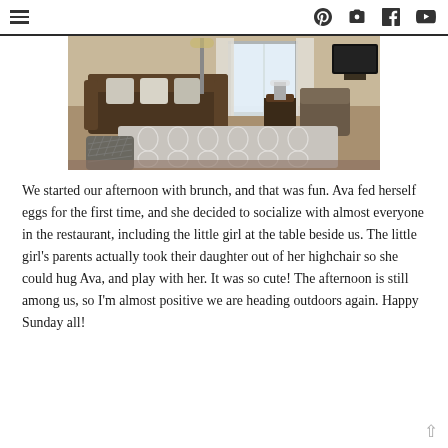≡  Pinterest  Camera  Facebook  YouTube
[Figure (photo): Interior living room photo showing a brown sofa with pillows, a patterned grey-and-white area rug, a grey upholstered ottoman, a floor lamp, window with curtains, and a flat screen TV on the right side.]
We started our afternoon with brunch, and that was fun. Ava fed herself eggs for the first time, and she decided to socialize with almost everyone in the restaurant, including the little girl at the table beside us. The little girl's parents actually took their daughter out of her highchair so she could hug Ava, and play with her. It was so cute! The afternoon is still among us, so I'm almost positive we are heading outdoors again. Happy Sunday all!